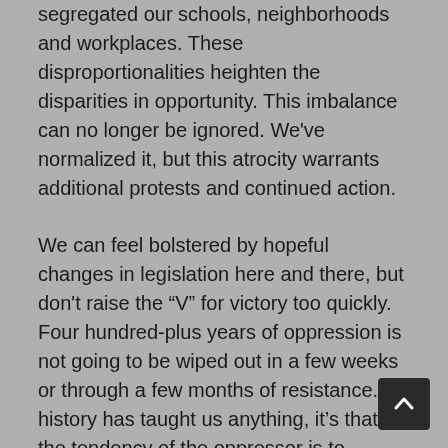segregated our schools, neighborhoods and workplaces. These disproportionalities heighten the disparities in opportunity. This imbalance can no longer be ignored. We've normalized it, but this atrocity warrants additional protests and continued action.
We can feel bolstered by hopeful changes in legislation here and there, but don't raise the “V” for victory too quickly. Four hundred-plus years of oppression is not going to be wiped out in a few weeks or through a few months of resistance. If history has taught us anything, it’s that the tendency of the oppressor is to double down.
The historical precedent: The last major